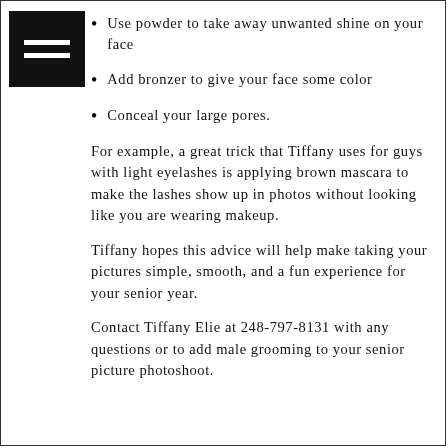Use powder to take away unwanted shine on your face
Add bronzer to give your face some color
Conceal your large pores.
For example, a great trick that Tiffany uses for guys with light eyelashes is applying brown mascara to make the lashes show up in photos without looking like you are wearing makeup.
Tiffany hopes this advice will help make taking your pictures simple, smooth, and a fun experience for your senior year.
Contact Tiffany Elie at 248-797-8131 with any questions or to add male grooming to your senior picture photoshoot.